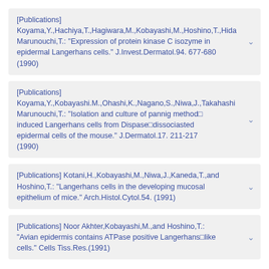[Publications] Koyama,Y.,Hachiya,T.,Hagiwara,M.,Kobayashi,M.,Hoshino,T.,Hida Marunouchi,T.: "Expression of protein kinase C isozyme in epidermal Langerhans cells." J.Invest.Dermatol.94. 677-680 (1990)
[Publications] Koyama,Y.,Kobayashi.M.,Ohashi,K.,Nagano,S.,Niwa,J.,Takahashi Marunouchi,T.: "Isolation and culture of pannig method induced Langerhans cells from Dispase dissociasted epidermal cells of the mouse." J.Dermatol.17. 211-217 (1990)
[Publications] Kotani,H.,Kobayashi,M.,Niwa,J.,Kaneda,T.,and Hoshino,T.: "Langerhans cells in the developing mucosal epithelium of mice." Arch.Histol.Cytol.54. (1991)
[Publications] Noor Akhter,Kobayashi,M.,and Hoshino,T.: "Avian epidermis contains ATPase positive Langerhans like cells." Cells Tiss.Res.(1991)